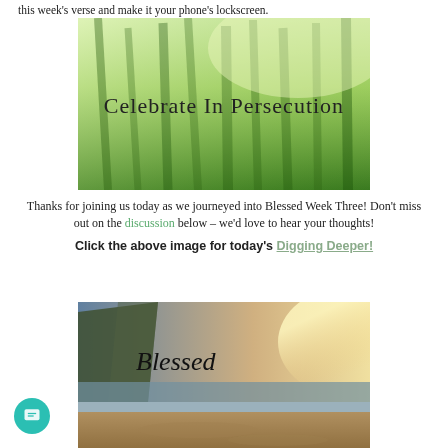this week's verse and make it your phone's lockscreen.
[Figure (photo): Close-up photo of green grass blades with light shining through, overlaid with text 'Celebrate In Persecution' in a light handwritten-style font.]
Thanks for joining us today as we journeyed into Blessed Week Three! Don't miss out on the discussion below – we'd love to hear your thoughts!
Click the above image for today's Digging Deeper!
[Figure (photo): Landscape photo of a coastal scene with cliffs, beach, and sunlight, overlaid with cursive text 'Blessed'.]